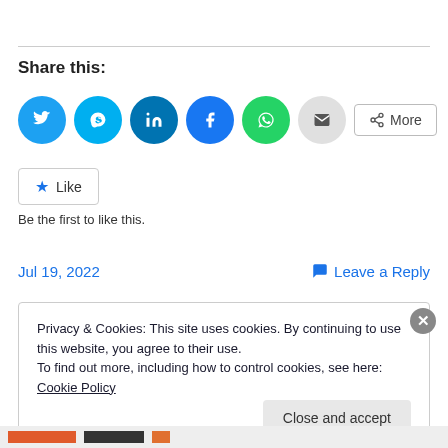Share this:
[Figure (infographic): Social share buttons: Twitter, Skype, LinkedIn, Facebook, WhatsApp, Email, More]
[Figure (infographic): Like button with star icon]
Be the first to like this.
Jul 19, 2022
Leave a Reply
Privacy & Cookies: This site uses cookies. By continuing to use this website, you agree to their use.
To find out more, including how to control cookies, see here: Cookie Policy
Close and accept